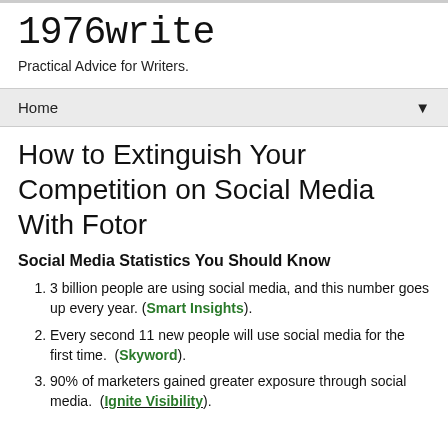1976write
Practical Advice for Writers.
Home ▼
How to Extinguish Your Competition on Social Media With Fotor
Social Media Statistics You Should Know
3 billion people are using social media, and this number goes up every year. (Smart Insights).
Every second 11 new people will use social media for the first time.  (Skyword).
90% of marketers gained greater exposure through social media.  (Ignite Visibility).